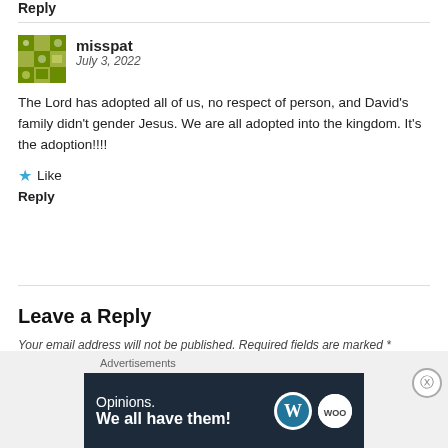Reply
misspat
July 3, 2022
The Lord has adopted all of us, no respect of person, and David's family didn't gender Jesus. We are all adopted into the kingdom. It's the adoption!!!!
Like
Reply
Leave a Reply
Your email address will not be published. Required fields are marked *
[Figure (infographic): Advertisement banner: dark navy background with text 'Opinions. We all have them!' and WordPress and WooCommerce logos]